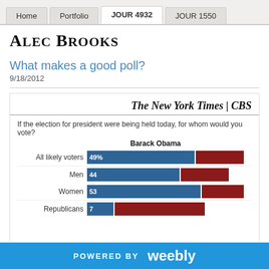Home | Portfolio | JOUR 4932 | JOUR 1550
Alec Brooks
What makes a good poll?
9/18/2012
[Figure (bar-chart): If the election for president were being held today, for whom would you vote? Bar chart showing Barack Obama vs Mitt Romney percentages for All likely voters (49%), Men (44), Women (53), Republicans (7)]
POWERED BY weebly